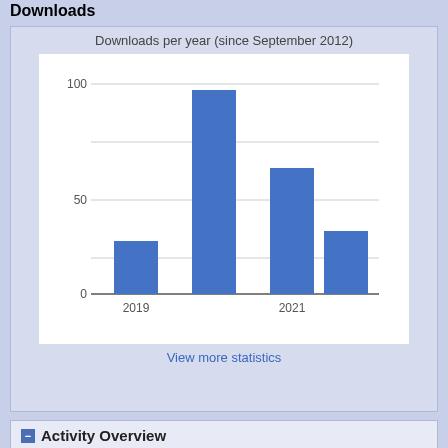Downloads
[Figure (bar-chart): Downloads per year (since September 2012)]
View more statistics
Activity Overview
| Downloads | Hits |
| --- | --- |
| 214 | 206 |